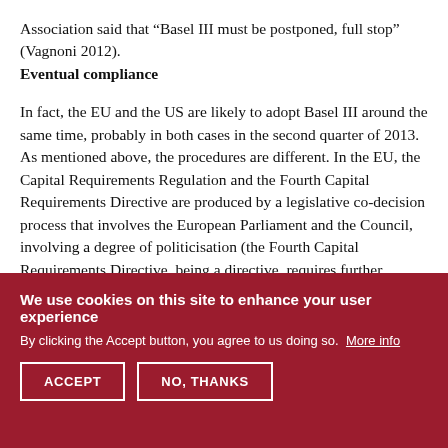Association said that “Basel III must be postponed, full stop” (Vagnoni 2012).
Eventual compliance
In fact, the EU and the US are likely to adopt Basel III around the same time, probably in both cases in the second quarter of 2013. As mentioned above, the procedures are different. In the EU, the Capital Requirements Regulation and the Fourth Capital Requirements Directive are produced by a legislative co-decision process that involves the European Parliament and the Council, involving a degree of politicisation (the Fourth Capital Requirements Directive, being a directive, requires further transposition in all member states’
We use cookies on this site to enhance your user experience
By clicking the Accept button, you agree to us doing so. More info
ACCEPT
NO, THANKS